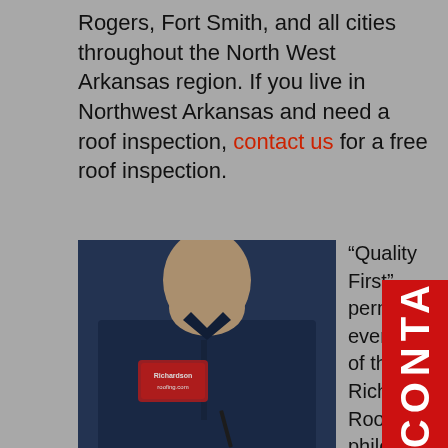Rogers, Fort Smith, and all cities throughout the North West Arkansas region. If you live in Northwest Arkansas and need a roof inspection, contact us for a free roof inspection.
[Figure (photo): A man wearing a navy blue button-up shirt with a Richardson Roofing logo patch on the chest, holding a pen, looking down.]
"Quality First" permeates every facet of the Richardson Roofing philosophy. The future outlook of the company is clearly grounded in this approach of giving the homeowner the peace of mind that their home will be protected with the best roofing products and installation in Arkansas. We would be honored with an opportunity to meet you and take a look at your roof condition. Whether you have damage or no...